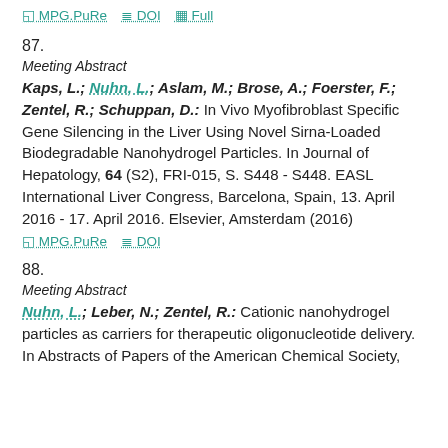MPG.PuRe  DOI  Full
87.
Meeting Abstract
Kaps, L.; Nuhn, L.; Aslam, M.; Brose, A.; Foerster, F.; Zentel, R.; Schuppan, D.: In Vivo Myofibroblast Specific Gene Silencing in the Liver Using Novel Sirna-Loaded Biodegradable Nanohydrogel Particles. In Journal of Hepatology, 64 (S2), FRI-015, S. S448 - S448. EASL International Liver Congress, Barcelona, Spain, 13. April 2016 - 17. April 2016. Elsevier, Amsterdam (2016)
MPG.PuRe  DOI
88.
Meeting Abstract
Nuhn, L.; Leber, N.; Zentel, R.: Cationic nanohydrogel particles as carriers for therapeutic oligonucleotide delivery. In Abstracts of Papers of the American Chemical Society,